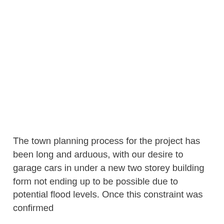The town planning process for the project has been long and arduous, with our desire to garage cars in under a new two storey building form not ending up to be possible due to potential flood levels. Once this constraint was confirmed